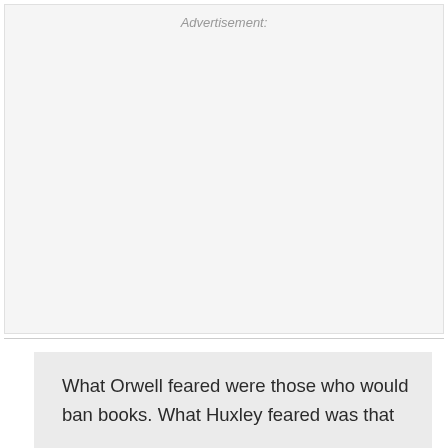Advertisement:
What Orwell feared were those who would ban books. What Huxley feared was that